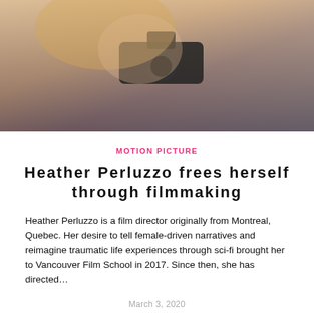[Figure (photo): Close-up photo of a young blonde woman holding a film camera viewfinder to her eye, with papers/scripts visible in the background]
MOTION PICTURE
Heather Perluzzo frees herself through filmmaking
Heather Perluzzo is a film director originally from Montreal, Quebec. Her desire to tell female-driven narratives and reimagine traumatic life experiences through sci-fi brought her to Vancouver Film School in 2017. Since then, she has directed…
March 3, 2020
[Figure (photo): Black and white photo, partially visible at bottom of page]